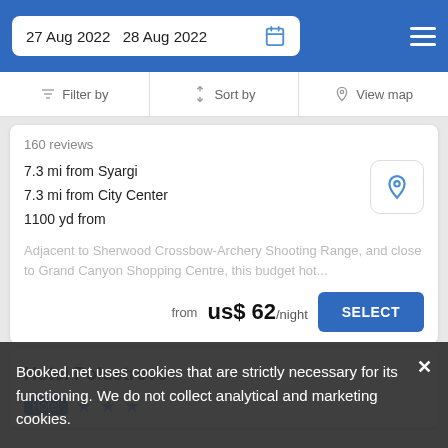27 Aug 2022  28 Aug 2022
Filter by  Sort by  View map
160 reviews
7.3 mi from Syargi
7.3 mi from City Center
1100 yd from
Adjacent to Sherwood Crossbow-Archery Shooting Range, and close to Grand Canyon Shopping Centre, this budget hot...
from  us$ 62/night  SELECT
Hotel Polustrovo
Hotel ★★★
Booked.net uses cookies that are strictly necessary for its functioning. We do not collect analytical and marketing cookies.